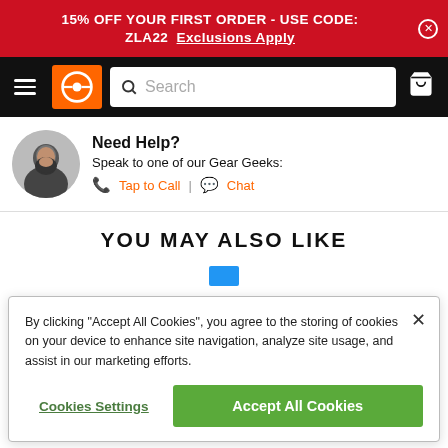15% OFF YOUR FIRST ORDER - USE CODE: ZLA22  Exclusions Apply
[Figure (screenshot): Navigation bar with hamburger menu, orange logo, search bar, and cart icon]
Need Help?
Speak to one of our Gear Geeks:
Tap to Call | Chat
YOU MAY ALSO LIKE
By clicking “Accept All Cookies”, you agree to the storing of cookies on your device to enhance site navigation, analyze site usage, and assist in our marketing efforts.
Cookies Settings
Accept All Cookies